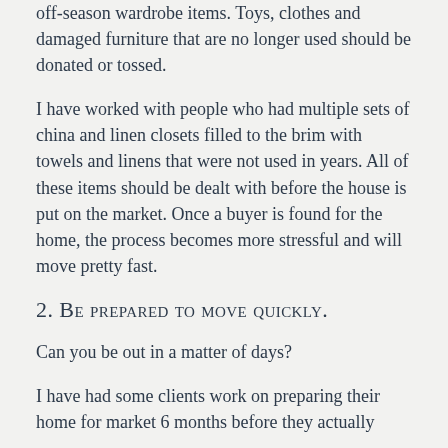off-season wardrobe items. Toys, clothes and damaged furniture that are no longer used should be donated or tossed.
I have worked with people who had multiple sets of china and linen closets filled to the brim with towels and linens that were not used in years. All of these items should be dealt with before the house is put on the market. Once a buyer is found for the home, the process becomes more stressful and will move pretty fast.
2. Be prepared to move quickly.
Can you be out in a matter of days?
I have had some clients work on preparing their home for market 6 months before they actually